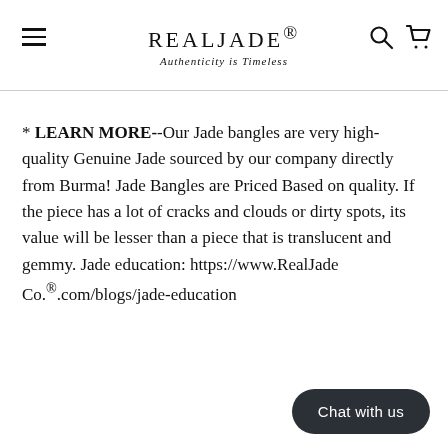REALJADE® Authenticity is Timeless
* LEARN MORE--Our Jade bangles are very high-quality Genuine Jade sourced by our company directly from Burma! Jade Bangles are Priced Based on quality. If the piece has a lot of cracks and clouds or dirty spots, its value will be lesser than a piece that is translucent and gemmy. Jade education: https://www.RealJade Co.®.com/blogs/jade-education